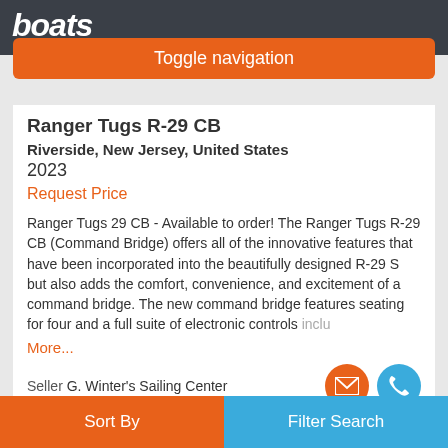boats.com
Toggle navigation
Ranger Tugs R-29 CB
Riverside, New Jersey, United States
2023
Request Price
Ranger Tugs 29 CB - Available to order! The Ranger Tugs R-29 CB (Command Bridge) offers all of the innovative features that have been incorporated into the beautifully designed R-29 S but also adds the comfort, convenience, and excitement of a command bridge. The new command bridge features seating for four and a full suite of electronic controls inclu
More...
Seller G. Winter's Sailing Center
Sort By   Filter Search